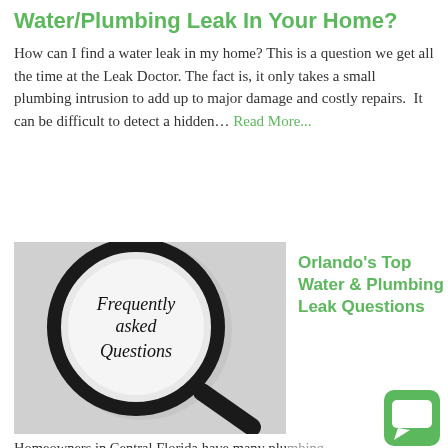Water/Plumbing Leak In Your Home?
How can I find a water leak in my home? This is a question we get all the time at the Leak Doctor. The fact is, it only takes a small plumbing intrusion to add up to major damage and costly repairs.  It can be difficult to detect a hidden… Read More...
[Figure (photo): Magnifying glass showing text 'Frequently asked Questions' inside the lens, on a light gray background]
Orlando's Top Water & Plumbing Leak Questions
Homeowners in Central Florida have many plumbing and water leak questions. Here are a few of the most popular ones we receive at the Leak Doctor. What is